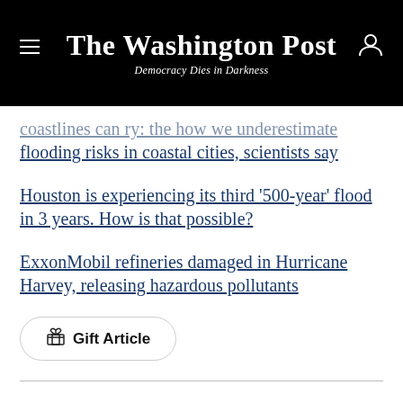The Washington Post — Democracy Dies in Darkness
…coastlines can ry: the how we underestimate flooding risks in coastal cities, scientists say
Houston is experiencing its third '500-year' flood in 3 years. How is that possible?
ExxonMobil refineries damaged in Hurricane Harvey, releasing hazardous pollutants
Gift Article